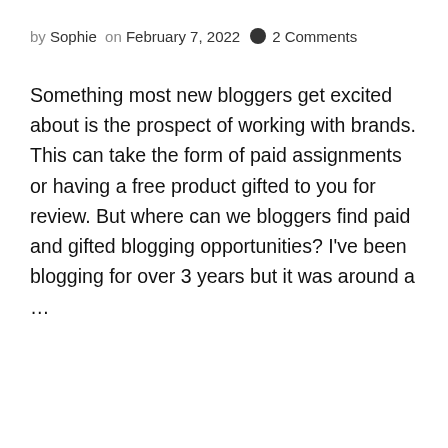by Sophie  on February 7, 2022  🗨 2 Comments
Something most new bloggers get excited about is the prospect of working with brands. This can take the form of paid assignments or having a free product gifted to you for review. But where can we bloggers find paid and gifted blogging opportunities? I've been blogging for over 3 years but it was around a ...